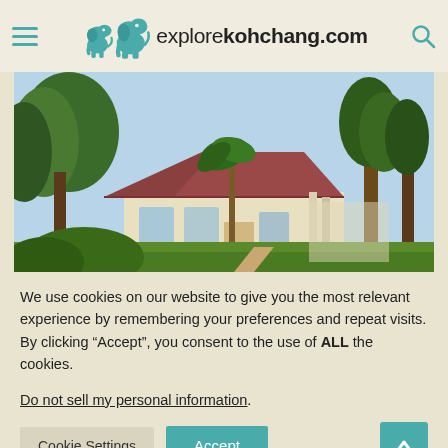explorekohchang.com
[Figure (photo): Exterior view of a tropical villa/bungalow with a red corrugated roof, white walls, surrounded by lush green trees and palm trees in a garden setting.]
We use cookies on our website to give you the most relevant experience by remembering your preferences and repeat visits. By clicking “Accept”, you consent to the use of ALL the cookies.
Do not sell my personal information.
Cookie Settings   Accept